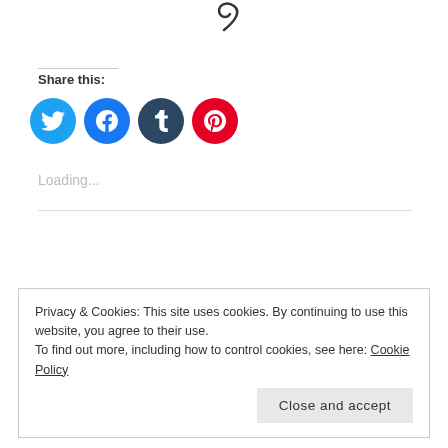[Figure (illustration): Partial decorative curl/swirl symbol at top center of page]
Share this:
[Figure (infographic): Four circular social media share buttons: Twitter (light blue), Facebook (blue), Tumblr (dark navy), Pinterest (red)]
Loading...
Privacy & Cookies: This site uses cookies. By continuing to use this website, you agree to their use.
To find out more, including how to control cookies, see here: Cookie Policy
Close and accept